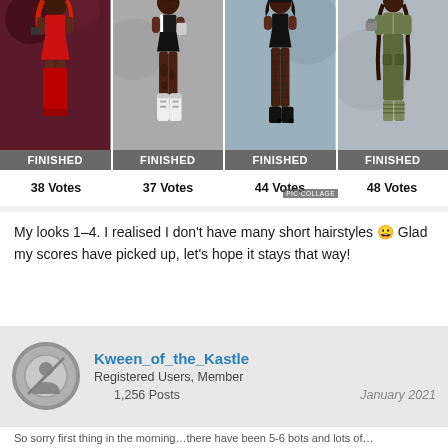[Figure (photo): A collage of 4 animated fashion-game character outfit panels each labeled FINISHED at the bottom, with vote counts below: 38 Votes, 37 Votes, 44 Votes, 48 Votes. A PIC COLLAGE watermark overlaps the third and fourth panels.]
My looks 1-4. I realised I don't have many short hairstyles 😀 Glad my scores have picked up, let's hope it stays that way!
Kween_of_the_Kastle
Registered Users, Member
1,256 Posts
January 2021
...